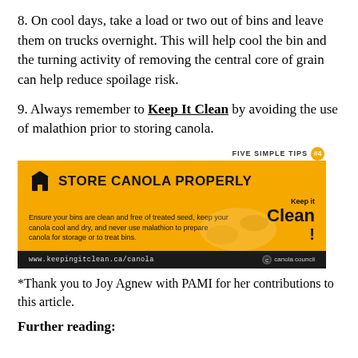8. On cool days, take a load or two out of bins and leave them on trucks overnight. This will help cool the bin and the turning activity of removing the central core of grain can help reduce spoilage risk.
9. Always remember to Keep It Clean by avoiding the use of malathion prior to storing canola.
[Figure (infographic): Yellow advertisement banner for 'Store Canola Properly' tip #4 from Keep It Clean / Canola Council. Contains icon of grain bin, title 'STORE CANOLA PROPERLY', body text about keeping bins clean, free of treated seed, keeping canola cool and dry, and not using malathion. Has 'Keep it Clean!' logo. Black footer with www.keepingitclean.ca/canola and Canola Council logo.]
*Thank you to Joy Agnew with PAMI for her contributions to this article.
Further reading: